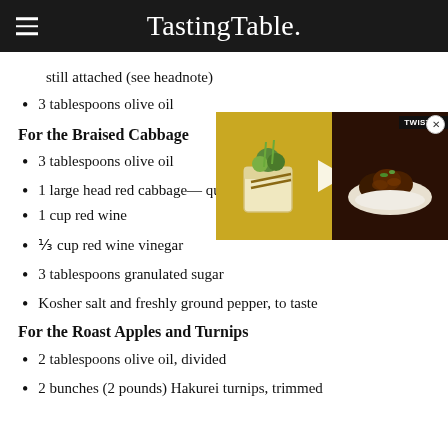Tasting Table.
still attached (see headnote)
3 tablespoons olive oil
For the Braised Cabbage
3 tablespoons olive oil
1 large head red cabbage— quartered, cored and thinly sliced
[Figure (screenshot): Video overlay showing two food images side by side with a play button, labeled Twisted]
1 cup red wine
⅓ cup red wine vinegar
3 tablespoons granulated sugar
Kosher salt and freshly ground pepper, to taste
For the Roast Apples and Turnips
2 tablespoons olive oil, divided
2 bunches (2 pounds) Hakurei turnips, trimmed